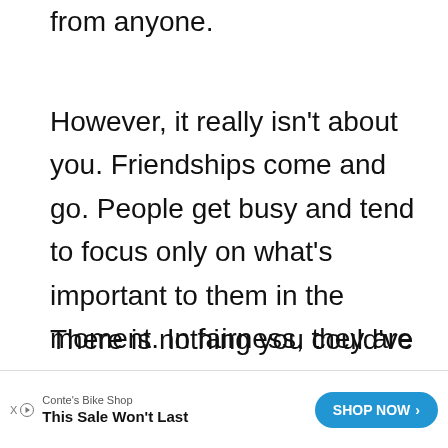from anyone.
However, it really isn’t about you. Friendships come and go. People get busy and tend to focus only on what’s important to them in the moment. In fairness, they are only handling things the way they are capable of or have always done.
There is nothing you could’ve done that would’ve changed the outcome of the situation. When the friendship drifts
[Figure (other): Advertisement banner for Conte's Bike Shop with text 'This Sale Won't Last' and a 'SHOP NOW' button]